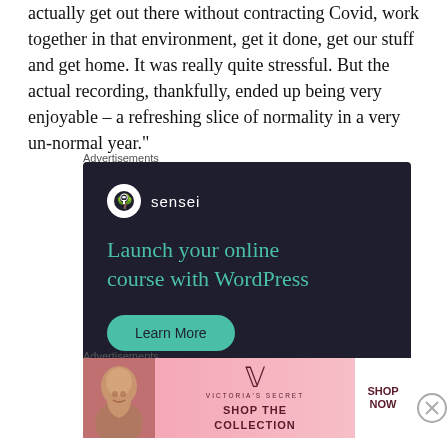actually get out there without contracting Covid, work together in that environment, get it done, get our stuff and get home. It was really quite stressful. But the actual recording, thankfully, ended up being very enjoyable – a refreshing slice of normality in a very un-normal year."
[Figure (screenshot): Sensei advertisement on dark navy background. Logo with tree icon, headline 'Launch your online course with WordPress', and a teal 'Learn More' button.]
Advertisements
[Figure (screenshot): Victoria's Secret advertisement with pink gradient background, woman's photo on left, VS logo, 'SHOP THE COLLECTION' text, and white 'SHOP NOW' button.]
Advertisements